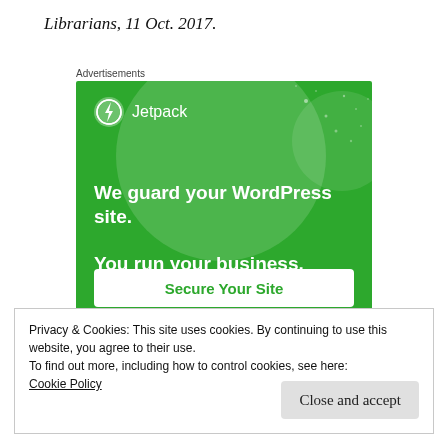Librarians, 11 Oct. 2017.
[Figure (screenshot): Jetpack advertisement: green background with circle decorations, Jetpack logo (lightning bolt in circle) and text 'We guard your WordPress site. You run your business.' with a 'Secure Your Site' button]
Privacy & Cookies: This site uses cookies. By continuing to use this website, you agree to their use.
To find out more, including how to control cookies, see here:
Cookie Policy
Close and accept